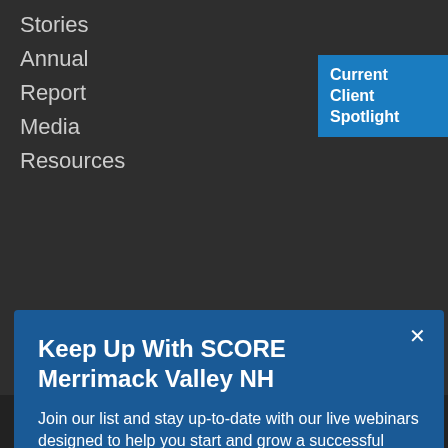Stories
Annual
Report
Media
Resources
Current Client Spotlight
Keep Up With SCORE Merrimack Valley NH
Join our list and stay up-to-date with our live webinars designed to help you start and grow a successful business.
Volunteer Login   Website Policy   Credits
Copyright © 2022 SCORE Association, www.score.org